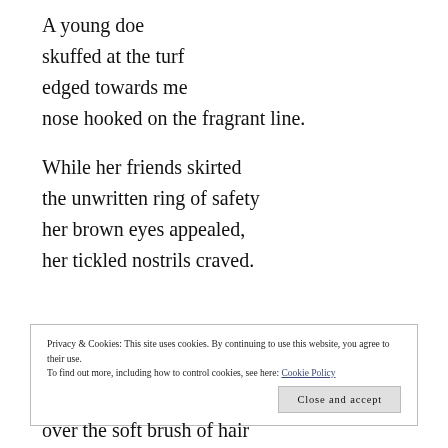A young doe
skuffed at the turf
edged towards me
nose hooked on the fragrant line.
While her friends skirted
the unwritten ring of safety
her brown eyes appealed,
her tickled nostrils craved.
Privacy & Cookies: This site uses cookies. By continuing to use this website, you agree to their use. To find out more, including how to control cookies, see here: Cookie Policy
Close and accept
over the soft brush of hair